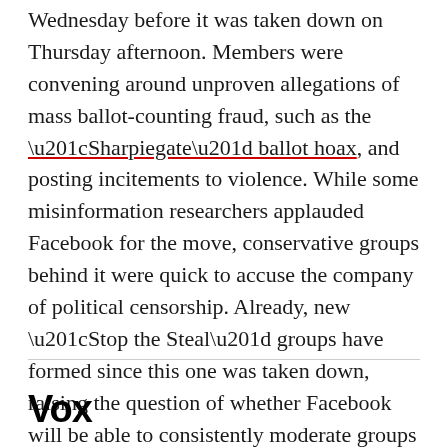Wednesday before it was taken down on Thursday afternoon. Members were convening around unproven allegations of mass ballot-counting fraud, such as the “Sharpiegate” ballot hoax, and posting incitements to violence. While some misinformation researchers applauded Facebook for the move, conservative groups behind it were quick to accuse the company of political censorship. Already, new “Stop the Steal” groups have formed since this one was taken down, raising the question of whether Facebook will be able to consistently moderate groups like this that violate its rules.
Vox